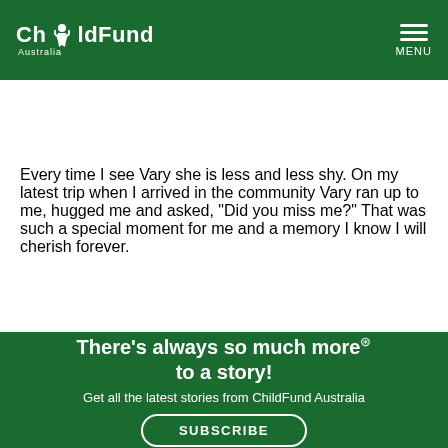ChildFund Australia | MENU
DONATE NOW | DONATE MONTHLY
Every time I see Vary she is less and less shy. On my latest trip when I arrived in the community Vary ran up to me, hugged me and asked, “Did you miss me?” That was such a special moment for me and a memory I know I will cherish forever.
There’s always so much more ® to a story!
Get all the latest stories from ChildFund Australia
SUBSCRIBE